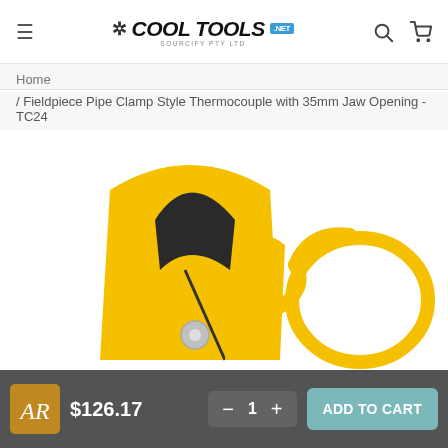Cool Tools .net — Header with hamburger menu, logo, search and cart icons
Home
/ Fieldpiece Pipe Clamp Style Thermocouple with 35mm Jaw Opening - TC24
[Figure (photo): Close-up photo of a yellow Fieldpiece pipe clamp style thermocouple (TC24) showing the yellow clamp body with pivot screw and yellow coiled cable against a white background]
$126.17
- 1 + ADD TO CART